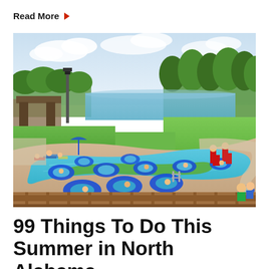Read More ▶
[Figure (photo): Aerial view of a lazy river pool with blue inflatable tubes, sunbathers on deck chairs, a lifeguard walking the pool edge in red uniform, green lawns and a lake in the background surrounded by trees.]
99 Things To Do This Summer in North Alabama
By [Author Name] · [Date]